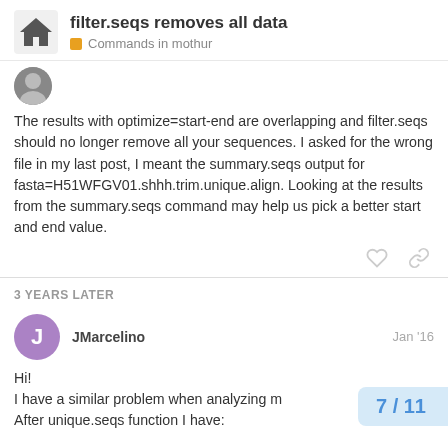filter.seqs removes all data — Commands in mothur
The results with optimize=start-end are overlapping and filter.seqs should no longer remove all your sequences. I asked for the wrong file in my last post, I meant the summary.seqs output for fasta=H51WFGV01.shhh.trim.unique.align. Looking at the results from the summary.seqs command may help us pick a better start and end value.
3 YEARS LATER
JMarcelino — Jan '16
Hi!
I have a similar problem when analyzing m
After unique.seqs function I have:
7 / 11